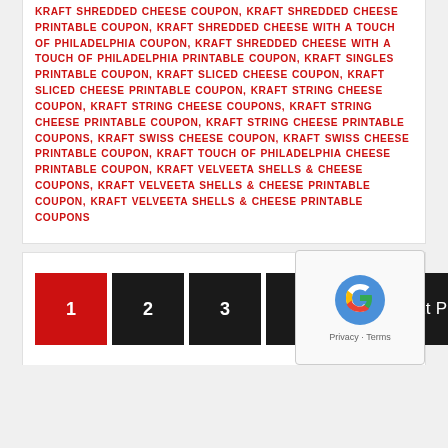KRAFT SHREDDED CHEESE COUPON, KRAFT SHREDDED CHEESE PRINTABLE COUPON, KRAFT SHREDDED CHEESE WITH A TOUCH OF PHILADELPHIA COUPON, KRAFT SHREDDED CHEESE WITH A TOUCH OF PHILADELPHIA PRINTABLE COUPON, KRAFT SINGLES PRINTABLE COUPON, KRAFT SLICED CHEESE COUPON, KRAFT SLICED CHEESE PRINTABLE COUPON, KRAFT STRING CHEESE COUPON, KRAFT STRING CHEESE COUPONS, KRAFT STRING CHEESE PRINTABLE COUPON, KRAFT STRING CHEESE PRINTABLE COUPONS, KRAFT SWISS CHEESE COUPON, KRAFT SWISS CHEESE PRINTABLE COUPON, KRAFT TOUCH OF PHILADELPHIA CHEESE PRINTABLE COUPON, KRAFT VELVEETA SHELLS & CHEESE COUPONS, KRAFT VELVEETA SHELLS & CHEESE PRINTABLE COUPON, KRAFT VELVEETA SHELLS & CHEESE PRINTABLE COUPONS
Page navigation: 1, 2, 3, 4, Next Page »